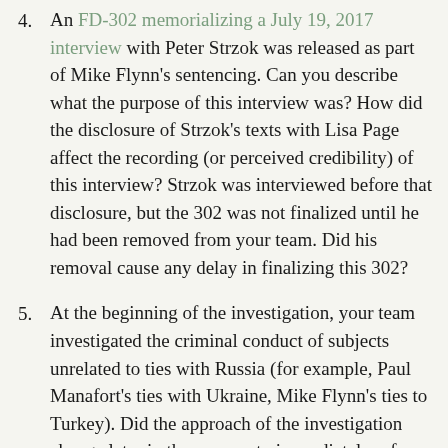4. An FD-302 memorializing a July 19, 2017 interview with Peter Strzok was released as part of Mike Flynn's sentencing. Can you describe what the purpose of this interview was? How did the disclosure of Strzok's texts with Lisa Page affect the recording (or perceived credibility) of this interview? Strzok was interviewed before that disclosure, but the 302 was not finalized until he had been removed from your team. Did his removal cause any delay in finalizing this 302?
5. At the beginning of the investigation, your team investigated the criminal conduct of subjects unrelated to ties with Russia (for example, Paul Manafort's ties with Ukraine, Mike Flynn's ties to Turkey). Did the approach of the investigation change later in the process to immediately refer